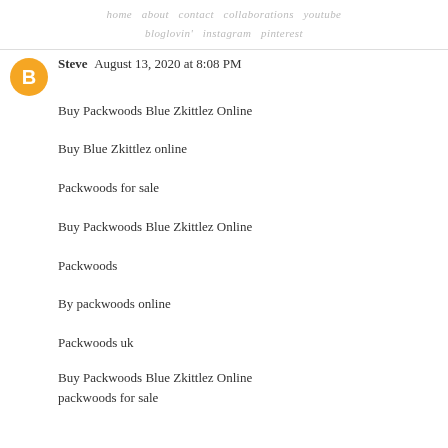home  about  contact  collaborations  youtube  bloglovin'  instagram  pinterest
Steve  August 13, 2020 at 8:08 PM
Buy Packwoods Blue Zkittlez Online
Buy Blue Zkittlez online
Packwoods for sale
Buy Packwoods Blue Zkittlez Online
Packwoods
By packwoods online
Packwoods uk
Buy Packwoods Blue Zkittlez Online packwoods for sale